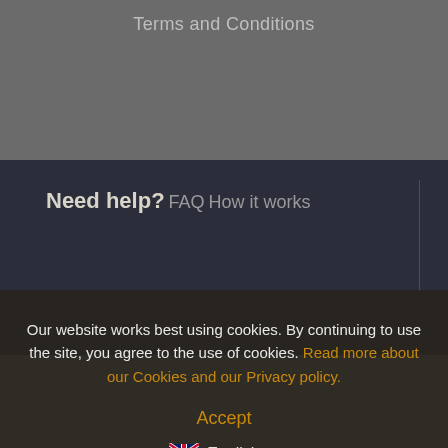Terms and Conditions
Need help?
FAQ
How it works
Our website works best using cookies. By continuing to use the site, you agree to the use of cookies. Read more about our Cookies and our Privacy policy.
Accept
English